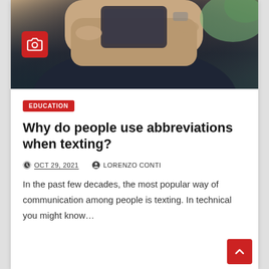[Figure (photo): Person holding a smartphone, shot from above, wearing a dark t-shirt, blurred green plant in background]
EDUCATION
Why do people use abbreviations when texting?
OCT 29, 2021   LORENZO CONTI
In the past few decades, the most popular way of communication among people is texting. In technical you might know…